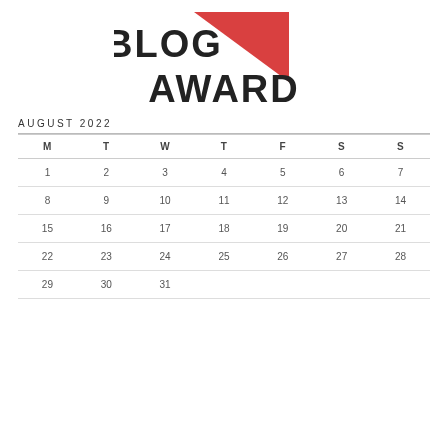[Figure (logo): Lovely Blog Award logo with red triangle/heart shape and decorative text reading BLOG AWARD]
AUGUST 2022
| M | T | W | T | F | S | S |
| --- | --- | --- | --- | --- | --- | --- |
| 1 | 2 | 3 | 4 | 5 | 6 | 7 |
| 8 | 9 | 10 | 11 | 12 | 13 | 14 |
| 15 | 16 | 17 | 18 | 19 | 20 | 21 |
| 22 | 23 | 24 | 25 | 26 | 27 | 28 |
| 29 | 30 | 31 |  |  |  |  |